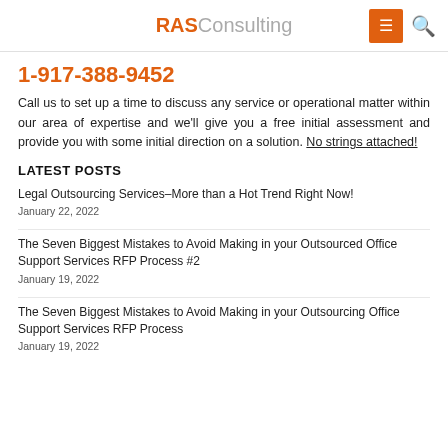RASConsulting
1-917-388-9452
Call us to set up a time to discuss any service or operational matter within our area of expertise and we'll give you a free initial assessment and provide you with some initial direction on a solution. No strings attached!
LATEST POSTS
Legal Outsourcing Services–More than a Hot Trend Right Now!
January 22, 2022
The Seven Biggest Mistakes to Avoid Making in your Outsourced Office Support Services RFP Process #2
January 19, 2022
The Seven Biggest Mistakes to Avoid Making in your Outsourcing Office Support Services RFP Process
January 19, 2022